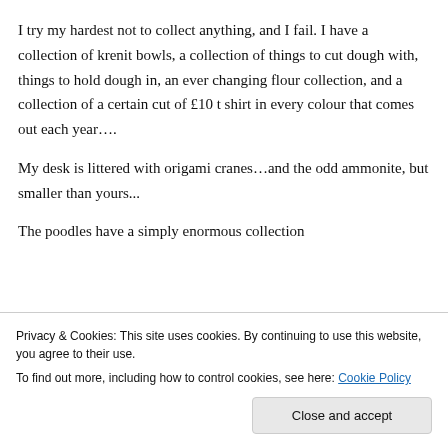I try my hardest not to collect anything, and I fail. I have a collection of krenit bowls, a collection of things to cut dough with, things to hold dough in, an ever changing flour collection, and a collection of a certain cut of £10 t shirt in every colour that comes out each year….
My desk is littered with origami cranes…and the odd ammonite, but smaller than yours...
The poodles have a simply enormous collection
Privacy & Cookies: This site uses cookies. By continuing to use this website, you agree to their use.
To find out more, including how to control cookies, see here: Cookie Policy